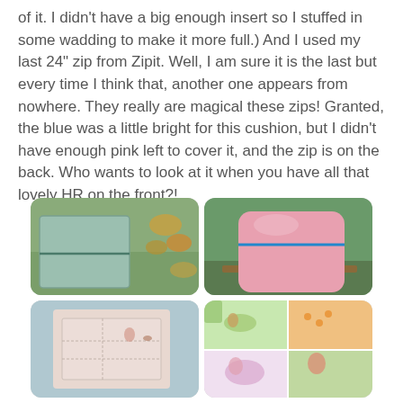of it. I didn't have a big enough insert so I stuffed in some wadding to make it more full.) And I used my last 24" zip from Zipit. Well, I am sure it is the last but every time I think that, another one appears from nowhere. They really are magical these zips! Granted, the blue was a little bright for this cushion, but I didn't have enough pink left to cover it, and the zip is on the back. Who wants to look at it when you have all that lovely HR on the front?!
[Figure (photo): Four photos of cushions: top-left shows back of a teal/blue cushion with zipper detail among autumn leaves; top-right shows a pink cushion with blue zipper sitting on a wooden bench outdoors; bottom-left shows close-up of quilted light pink fabric panel; bottom-right shows colorful quilted panel with illustrated children's characters.]